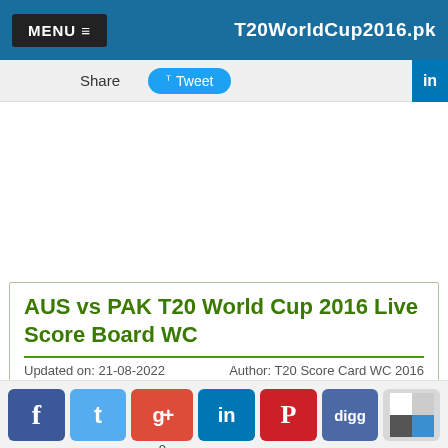MENU ≡   T20WorldCup2016.pk
Share   Tweet   in
AUS vs PAK T20 World Cup 2016 Live Score Board WC
Updated on: 21-08-2022   Author: T20 Score Card WC 2016
[Figure (screenshot): Social sharing icons row: Facebook, Twitter, Google+, LinkedIn, Pinterest, Digg, and a share icon with count 0]